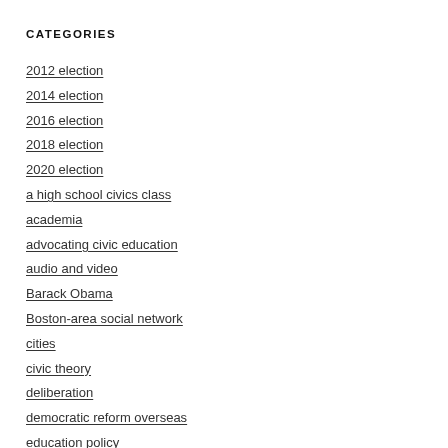CATEGORIES
2012 election
2014 election
2016 election
2018 election
2020 election
a high school civics class
academia
advocating civic education
audio and video
Barack Obama
Boston-area social network
cities
civic theory
deliberation
democratic reform overseas
education policy